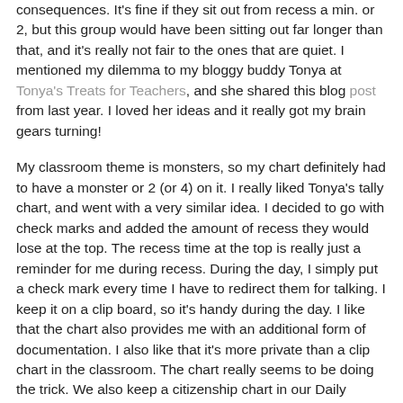consequences. It's fine if they sit out from recess a min. or 2, but this group would have been sitting out far longer than that, and it's really not fair to the ones that are quiet. I mentioned my dilemma to my bloggy buddy Tonya at Tonya's Treats for Teachers, and she shared this blog post from last year.   I loved her ideas and it really got my brain gears turning!

My classroom theme is monsters, so my chart definitely had to have a monster or 2 (or 4) on it.  I really liked Tonya's tally chart, and went with a very similar idea.  I decided to go with check marks and added the amount of recess they would lose at the top.  The recess time at the top is really just  a reminder for me during recess.  During the day, I simply put a check mark every time I have to redirect them for talking.  I keep it on a clip board, so it's handy during the day.   I like that the chart also provides me with an additional form of documentation. I also like that it's more private than a clip chart in the classroom.  The chart really seems to be doing the trick.   We also keep a citizenship chart in our Daily Folders, so this makes it easy to mark folders accordingly at the end of the day.  I simply write in how many check marks they received during the day.  If they manage to turn their